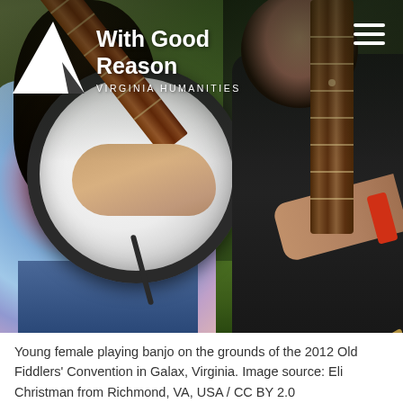[Figure (photo): Young female playing banjo on the grounds of the 2012 Old Fiddlers' Convention in Galax, Virginia. Two young people playing string instruments outdoors. Person on left wears a tie-dye shirt and plays a banjo. Person on right plays a guitar/banjo. The With Good Reason / Virginia Humanities logo appears in the top-left corner with a hamburger menu icon in the top-right.]
Young female playing banjo on the grounds of the 2012 Old Fiddlers' Convention in Galax, Virginia. Image source: Eli Christman from Richmond, VA, USA / CC BY 2.0